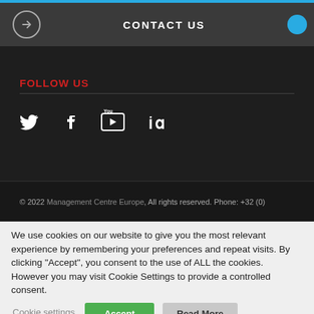CONTACT US
FOLLOW US
[Figure (infographic): Social media icons: Twitter (bird), Facebook (f), YouTube (play button in box), LinkedIn (in)]
© 2022 Management Centre Europe, All rights reserved. Phone: +32 (0)
We use cookies on our website to give you the most relevant experience by remembering your preferences and repeat visits. By clicking "Accept", you consent to the use of ALL the cookies. However you may visit Cookie Settings to provide a controlled consent.
Cookie settings | Accept | Read More